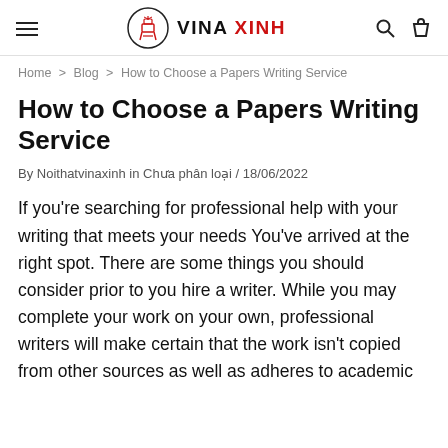VINA XINH
Home > Blog > How to Choose a Papers Writing Service
How to Choose a Papers Writing Service
By Noithatvinaxinh in Chua phân loại / 18/06/2022
If you're searching for professional help with your writing that meets your needs You've arrived at the right spot. There are some things you should consider prior to you hire a writer. While you may complete your work on your own, professional writers will make certain that the work isn't copied from other sources as well as adheres to academic